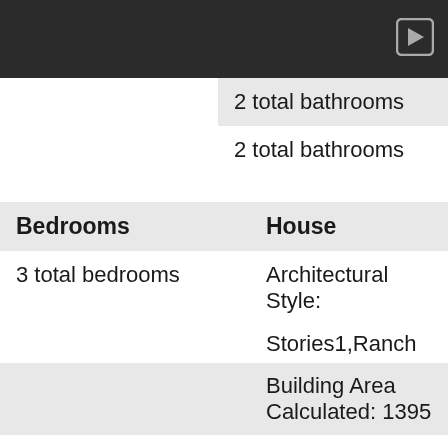| Bedrooms | House |
| --- | --- |
| 3 total bedrooms | Architectural Style: |
|  | Stories1,Ranch |
|  | Building Area Calculated: 1395 |
|  | Building Area Description: GIS |
|  | Building Area Total: 1395 |
|  | Built in 1996 |
|  | Main Level Area Total: |